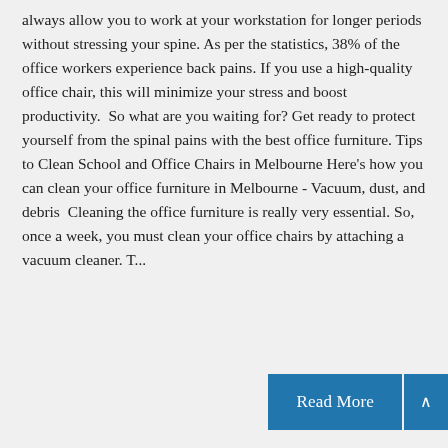always allow you to work at your workstation for longer periods without stressing your spine. As per the statistics, 38% of the office workers experience back pains. If you use a high-quality office chair, this will minimize your stress and boost productivity.  So what are you waiting for? Get ready to protect yourself from the spinal pains with the best office furniture. Tips to Clean School and Office Chairs in Melbourne Here's how you can clean your office furniture in Melbourne - Vacuum, dust, and debris  Cleaning the office furniture is really very essential. So, once a week, you must clean your office chairs by attaching a vacuum cleaner. T...
Read More